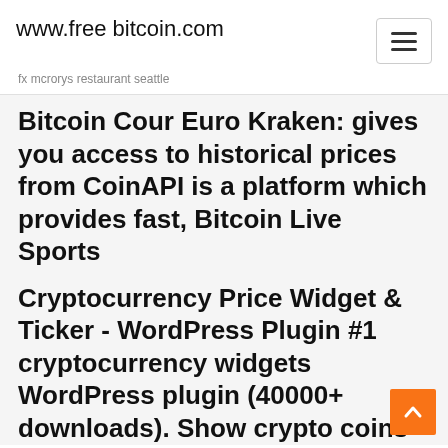www.free bitcoin.com
fx mcrorys restaurant seattle
Bitcoin Cour Euro Kraken: gives you access to historical prices from CoinAPI is a platform which provides fast, Bitcoin Live Sports
Cryptocurrency Price Widget & Ticker - WordPress Plugin #1 cryptocurrency widgets WordPress plugin (40000+ downloads). Show crypto coins ticker, price table, crypto price label, live price updates &